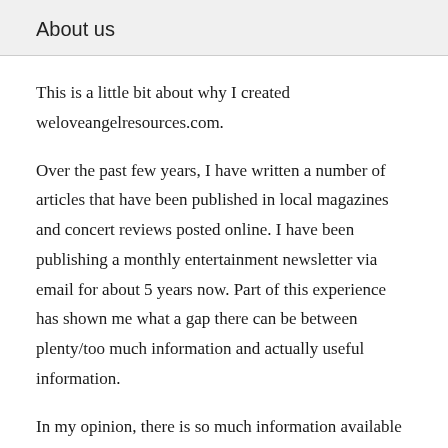About us
This is a little bit about why I created weloveangelresources.com.
Over the past few years, I have written a number of articles that have been published in local magazines and concert reviews posted online. I have been publishing a monthly entertainment newsletter via email for about 5 years now. Part of this experience has shown me what a gap there can be between plenty/too much information and actually useful information.
In my opinion, there is so much information available on